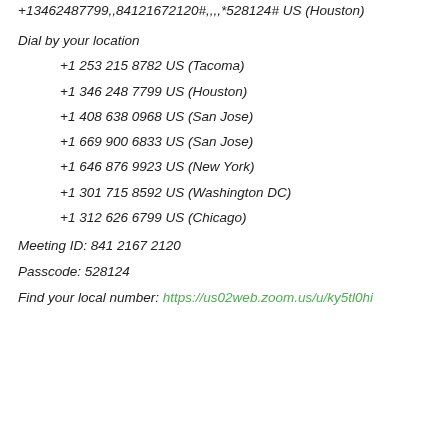+13462487799,,84121672120#,,,,*528124# US (Houston)
Dial by your location
+1 253 215 8782 US (Tacoma)
+1 346 248 7799 US (Houston)
+1 408 638 0968 US (San Jose)
+1 669 900 6833 US (San Jose)
+1 646 876 9923 US (New York)
+1 301 715 8592 US (Washington DC)
+1 312 626 6799 US (Chicago)
Meeting ID: 841 2167 2120
Passcode: 528124
Find your local number: https://us02web.zoom.us/u/ky5tl0hi